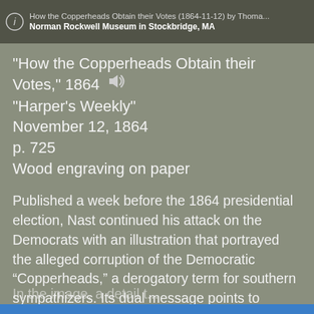How the Copperheads Obtain their Votes (1864-11-12) by Thoma... Norman Rockwell Museum in Stockbridge, MA
"How the Copperheads Obtain their Votes," 1864
"Harper's Weekly"
November 12, 1864
p. 725
Wood engraving on paper
Published a week before the 1864 presidential election, Nast continued his attack on the Democrats with an illustration that portrayed the alleged corruption of the Democratic “Copperheads,” a derogatory term for southern sympathizers. Its dual message points to Democratic corruption—in this case, voting fraud—and the party’s callous disregard for the sacrifices made for the Union cause.